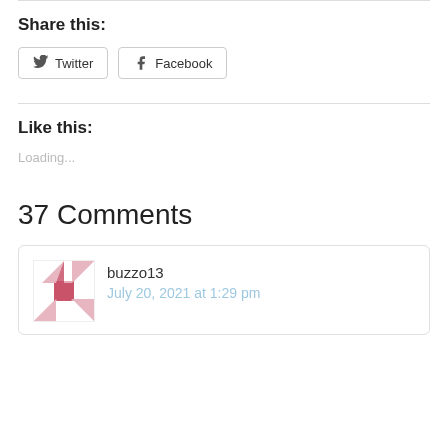Share this:
Twitter | Facebook
Like this:
Loading...
37 Comments
buzzo13
July 20, 2021 at 1:29 pm